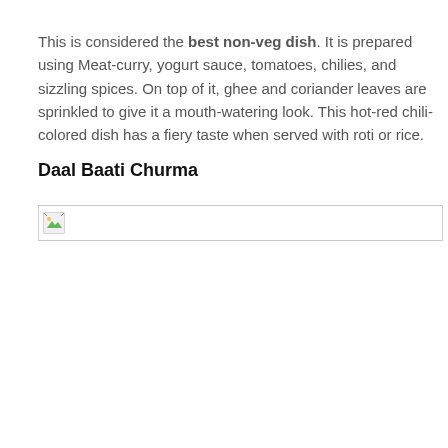This is considered the best non-veg dish. It is prepared using Meat-curry, yogurt sauce, tomatoes, chilies, and sizzling spices. On top of it, ghee and coriander leaves are sprinkled to give it a mouth-watering look. This hot-red chili-colored dish has a fiery taste when served with roti or rice.
Daal Baati Churma
[Figure (photo): Broken image placeholder icon with a small landscape thumbnail icon in the top-left corner of a bordered rectangle]